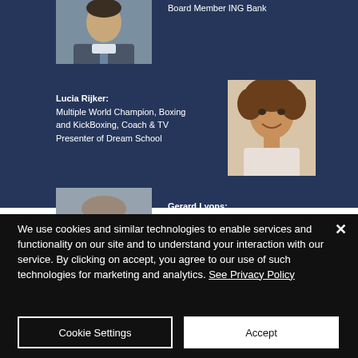Board Member ING Bank
[Figure (photo): Photo of a man in a suit, positioned at the top left of the dark blue background]
Lucia Rijker: Multiple World Champion, Boxing and KickBoxing, Coach & TV Presenter of Dream School
[Figure (photo): Photo of Lucia Rijker, a woman with curly hair, smiling, wearing a light top]
[Figure (photo): Photo of Gerard Lyons, a man with glasses in a dark suit]
Gerard Lyons: Leading Economist, Expert on the Global Economy, UK, Brexit, International Financial Markets and
We use cookies and similar technologies to enable services and functionality on our site and to understand your interaction with our service. By clicking on accept, you agree to our use of such technologies for marketing and analytics. See Privacy Policy
Cookie Settings
Accept